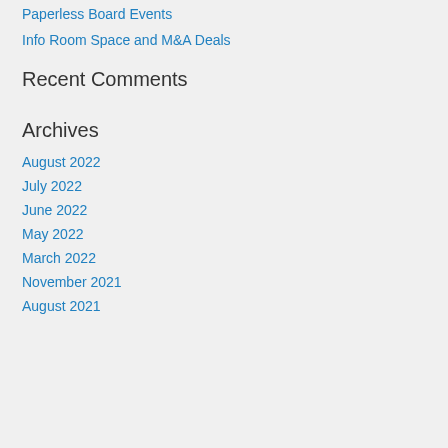Paperless Board Events
Info Room Space and M&A Deals
Recent Comments
Archives
August 2022
July 2022
June 2022
May 2022
March 2022
November 2021
August 2021